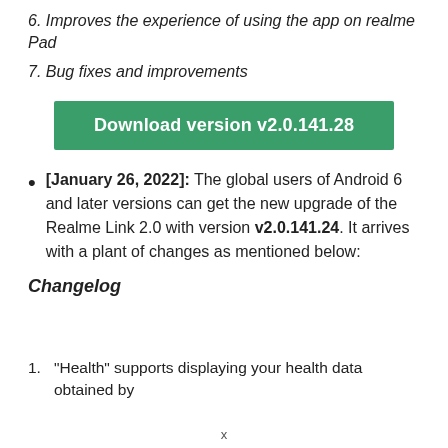6. Improves the experience of using the app on realme Pad
7. Bug fixes and improvements
Download version v2.0.141.28
[January 26, 2022]: The global users of Android 6 and later versions can get the new upgrade of the Realme Link 2.0 with version v2.0.141.24. It arrives with a plant of changes as mentioned below:
Changelog
1. “Health” supports displaying your health data obtained by